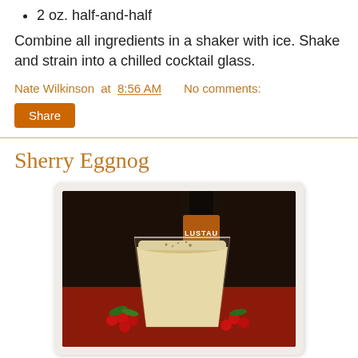2 oz. half-and-half
Combine all ingredients in a shaker with ice. Shake and strain into a chilled cocktail glass.
Nate Wilkinson at 8:56 AM    No comments:
Share
Sherry Eggnog
[Figure (photo): Photo of a glass of eggnog with a Lustau sherry bottle in the background, garnished with red berries and holiday greenery on a red surface.]